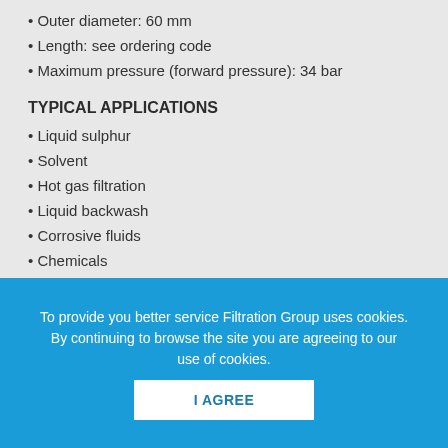Outer diameter: 60 mm
Length: see ordering code
Maximum pressure (forward pressure): 34 bar
TYPICAL APPLICATIONS
Liquid sulphur
Solvent
Hot gas filtration
Liquid backwash
Corrosive fluids
Chemicals
High temperature process
To provide you better service Filtration Group uses cookies. By continuing to browse the site you are agreeing to our use of cookies.